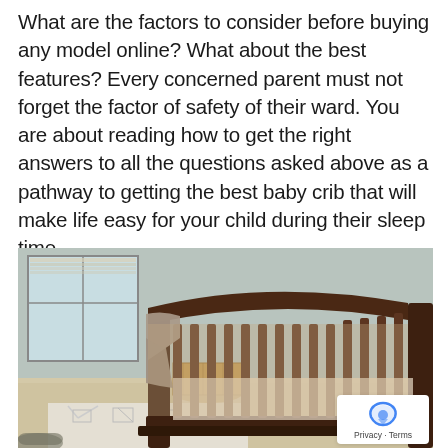What are the factors to consider before buying any model online? What about the best features? Every concerned parent must not forget the factor of safety of their ward. You are about reading how to get the right answers to all the questions asked above as a pathway to getting the best baby crib that will make life easy for your child during their sleep time.
[Figure (photo): A dark walnut wooden baby crib in a nursery room with beige carpet, white geometric-patterned rug, a wicker basket, and a window with blinds in the background. A gray blanket is draped over the crib rail.]